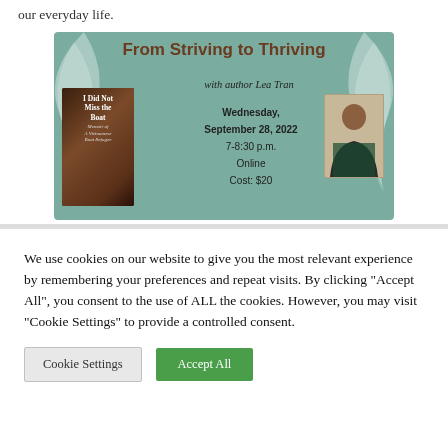our everyday life.
[Figure (infographic): Event banner for 'From Striving to Thriving' with author Lea Tran. Teal/sage green background with decorative feather motifs. Shows book cover for 'I Did Not Miss the Boat, Memoir of A Vietnamese Boat Refugee' by Lea Tran on left, author photo on right. Event details: Wednesday, September 28, 2022, 7-8:30 p.m., Online, Cost: $20.]
We use cookies on our website to give you the most relevant experience by remembering your preferences and repeat visits. By clicking “Accept All”, you consent to the use of ALL the cookies. However, you may visit "Cookie Settings" to provide a controlled consent.